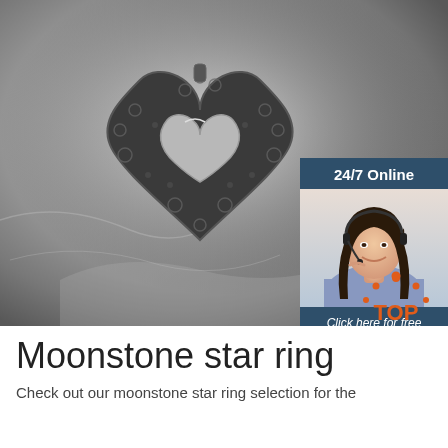[Figure (photo): Grayscale photo of a decorative silver heart-shaped box with floral embossing and a smooth heart center, resting on crinkled plastic/tissue wrap]
[Figure (photo): 24/7 Online customer service widget showing a smiling woman with a headset, dark blue background, with 'Click here for free chat!' text and an orange QUOTATION button]
[Figure (logo): Orange TOP logo with decorative arc of dots above the word TOP]
Moonstone star ring
Check out our moonstone star ring selection for the